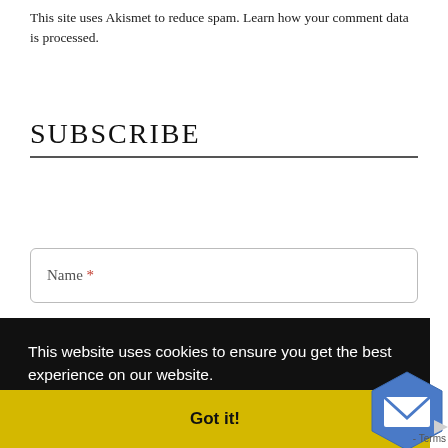This site uses Akismet to reduce spam. Learn how your comment data is processed.
SUBSCRIBE
Name *
This website uses cookies to ensure you get the best experience on our website. Learn more
Got it!
- Terms